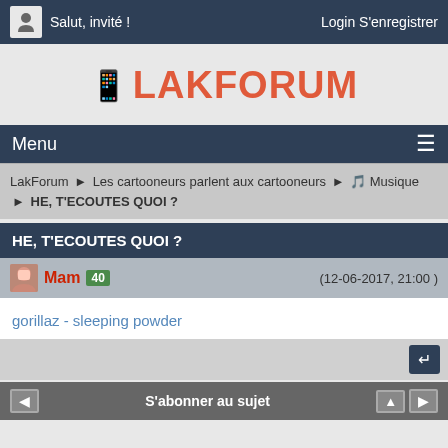Salut, invité !    Login S'enregistrer
LAKFORUM
Menu
LakForum ▶ Les cartooneurs parlent aux cartooneurs ▶ 🎵 Musique ▶ HE, T'ECOUTES QUOI ?
HE, T'ECOUTES QUOI ?
Mam 40   (12-06-2017, 21:00)
gorillaz - sleeping powder
S'abonner au sujet